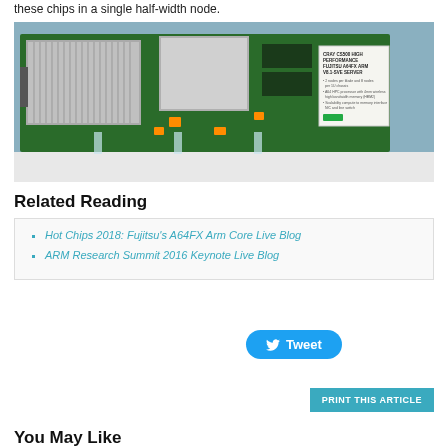these chips in a single half-width node.
[Figure (photo): Photo of a Cray CS500 High Performance Fujitsu A64FX ARM V8.1-SVE server circuit board displayed on a stand, with a label card visible on the right side.]
Related Reading
Hot Chips 2018: Fujitsu's A64FX Arm Core Live Blog
ARM Research Summit 2016 Keynote Live Blog
Tweet
PRINT THIS ARTICLE
You May Like